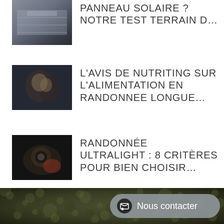[Figure (photo): Solar panel on terrain - article thumbnail]
PANNEAU SOLAIRE ? NOTRE TEST TERRAIN D…
[Figure (photo): Two people eating outdoors - article thumbnail]
L'AVIS DE NUTRITING SUR L'ALIMENTATION EN RANDONNEE LONGUE…
[Figure (photo): Person with hiking gear/camera - article thumbnail]
RANDONNÉE ULTRALIGHT : 8 CRITÈRES POUR BIEN CHOISIR…
[Figure (photo): Dark mossy forest background for footer]
Nous contacter